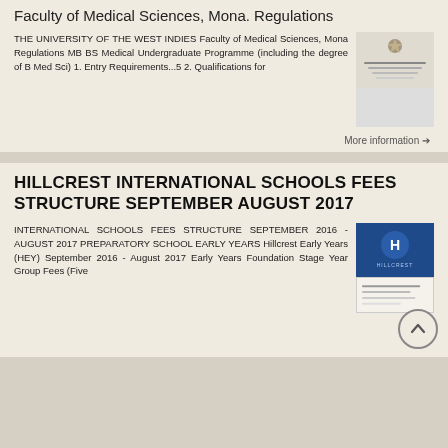Faculty of Medical Sciences, Mona. Regulations
THE UNIVERSITY OF THE WEST INDIES Faculty of Medical Sciences, Mona Regulations MB BS Medical Undergraduate Programme (including the degree of B Med Sci) 1. Entry Requirements...5 2. Qualifications for
[Figure (illustration): Thumbnail image of a document cover for The University of the West Indies Faculty of Medical Sciences regulations]
More information →
HILLCREST INTERNATIONAL SCHOOLS FEES STRUCTURE SEPTEMBER AUGUST 2017
INTERNATIONAL SCHOOLS FEES STRUCTURE SEPTEMBER 2016 - AUGUST 2017 PREPARATORY SCHOOL EARLY YEARS Hillcrest Early Years (HEY) September 2016 - August 2017 Early Years Foundation Stage Year Group Fees (Five
[Figure (illustration): Thumbnail image of Hillcrest International Schools fees structure document with blue cover]